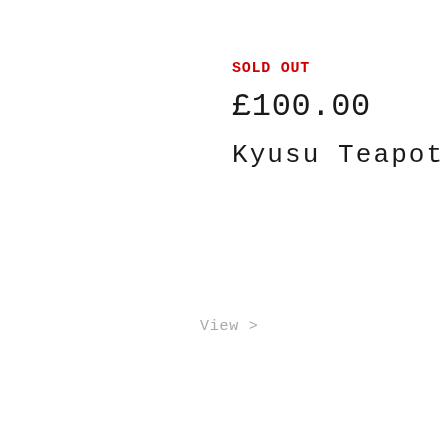SOLD OUT
£100.00
Kyusu Teapot
View >